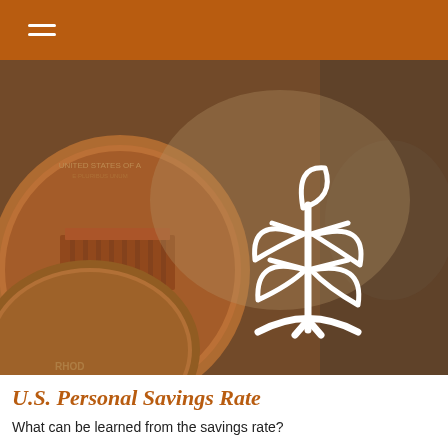[Figure (photo): Close-up photo of US pennies (one cent coins) with a white outlined plant/sprout icon overlaid in the center of the image, symbolizing financial growth and savings.]
U.S. Personal Savings Rate
What can be learned from the savings rate?